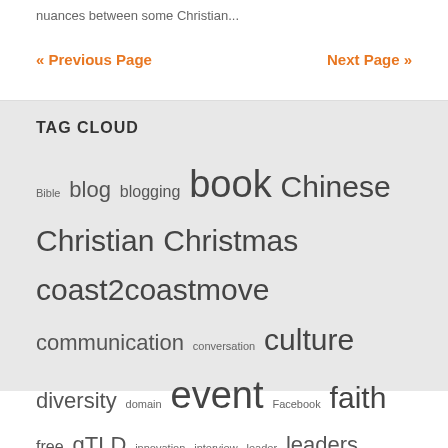nuances between some Christian...
« Previous Page    Next Page »
TAG CLOUD
Bible blog blogging book Chinese Christian Christmas coast2coastmove communication conversation culture diversity domain event Facebook faith free gTLD innovation interview leader leaders leadership life maturity meetup ministry mobile multiracial OC online pastor pastors people personal podcast prayer presentation relationship Starbucks talk theology travel twitter unblink web website WordPress worship